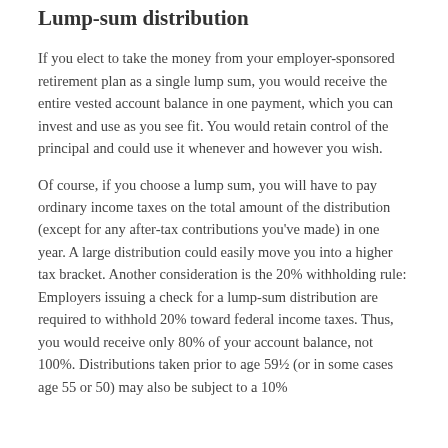Lump-sum distribution
If you elect to take the money from your employer-sponsored retirement plan as a single lump sum, you would receive the entire vested account balance in one payment, which you can invest and use as you see fit. You would retain control of the principal and could use it whenever and however you wish.
Of course, if you choose a lump sum, you will have to pay ordinary income taxes on the total amount of the distribution (except for any after-tax contributions you've made) in one year. A large distribution could easily move you into a higher tax bracket. Another consideration is the 20% withholding rule: Employers issuing a check for a lump-sum distribution are required to withhold 20% toward federal income taxes. Thus, you would receive only 80% of your account balance, not 100%. Distributions taken prior to age 59½ (or in some cases age 55 or 50) may also be subject to a 10%